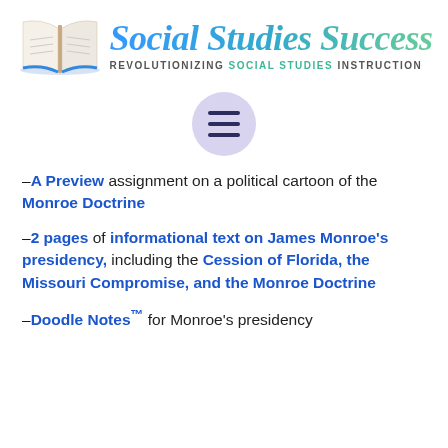[Figure (logo): Social Studies Success logo with open book illustration and script text reading 'Social Studies Success' and tagline 'REVOLUTIONIZING SOCIAL STUDIES INSTRUCTION']
[Figure (other): Hamburger menu icon (three horizontal lines) inside a lavender circle]
-A Preview assignment on a political cartoon of the Monroe Doctrine
-2 pages of informational text on James Monroe's presidency, including the Cession of Florida, the Missouri Compromise, and the Monroe Doctrine
-Doodle Notes™ for Monroe's presidency